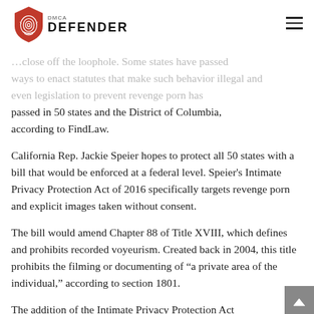DMCA DEFENDER
…close off the loophole. Some states have passed ways to enact statutes that make such behavior illegal and even legislation to prevent revenge porn has passed in 50 states and the District of Columbia, according to FindLaw.
California Rep. Jackie Speier hopes to protect all 50 states with a bill that would be enforced at a federal level. Speier's Intimate Privacy Protection Act of 2016 specifically targets revenge porn and explicit images taken without consent.
The bill would amend Chapter 88 of Title XVIII, which defines and prohibits recorded voyeurism. Created back in 2004, this title prohibits the filming or documenting of “a private area of the individual,” according to section 1801.
The addition of the Intimate Privacy Protection Act